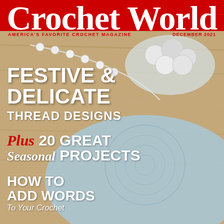[Figure (photo): Magazine cover of Crochet World December 2021. Background shows a wooden surface with a light blue crocheted doily, white pearl beads, and a glass bowl with silver and white ornament balls. Red banner at top.]
Crochet World
AMERICA'S FAVORITE CROCHET MAGAZINE
DECEMBER 2021
FESTIVE & DELICATE THREAD DESIGNS
Plus 20 GREAT Seasonal PROJECTS
HOW TO ADD WORDS To Your Crochet